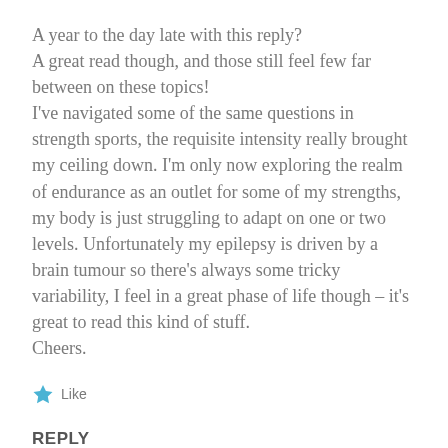A year to the day late with this reply?
A great read though, and those still feel few far between on these topics!
I've navigated some of the same questions in strength sports, the requisite intensity really brought my ceiling down. I'm only now exploring the realm of endurance as an outlet for some of my strengths, my body is just struggling to adapt on one or two levels. Unfortunately my epilepsy is driven by a brain tumour so there's always some tricky variability, I feel in a great phase of life though – it's great to read this kind of stuff.
Cheers.
Like
REPLY